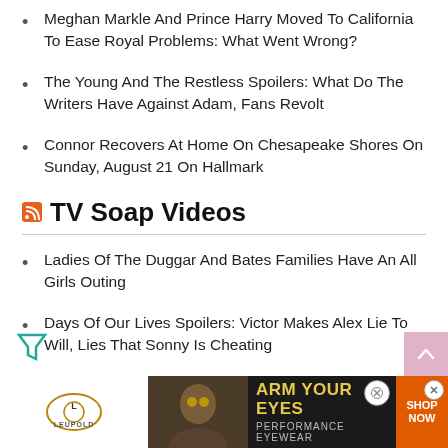Meghan Markle And Prince Harry Moved To California To Ease Royal Problems: What Went Wrong?
The Young And The Restless Spoilers: What Do The Writers Have Against Adam, Fans Revolt
Connor Recovers At Home On Chesapeake Shores On Sunday, August 21 On Hallmark
TV Soap Videos
Ladies Of The Duggar And Bates Families Have An All Girls Outing
Days Of Our Lives Spoilers: Victor Makes Alex Lie To Will, Lies That Sonny Is Cheating
The Thrilling Changes Fans Should Expect In Season 31 Of DW...
Da...
[Figure (other): Advertisement banner for Leupold ARM YOUR EYES Performance Eyewear with Shop Now button]